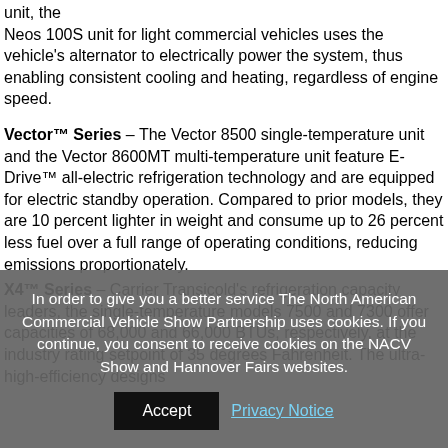unit, the Neos 100S unit for light commercial vehicles uses the vehicle's alternator to electrically power the system, thus enabling consistent cooling and heating, regardless of engine speed.
Vector™ Series – The Vector 8500 single-temperature unit and the Vector 8600MT multi-temperature unit feature E-Drive™ all-electric refrigeration technology and are equipped for electric standby operation. Compared to prior models, they are 10 percent lighter in weight and consume up to 26 percent less fuel over a full range of operating conditions, reducing emissions proportionately.
X4™ Series – Carrier Transicold's refrigeration capacity leaders, the single-temperature models 7500 and 7300 offer capacities of 68,000 and 66,000 BTUs, respectively, at the industry rating setpoint of 35 degrees Fahrenheit. The ultra-high-efficiency designs
In order to give you a better service The North American Commercial Vehicle Show Partnership uses cookies. If you continue, you consent to receive cookies on the NACV Show and Hannover Fairs websites.